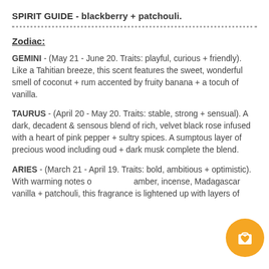SPIRIT GUIDE - blackberry + patchouli.
Zodiac:
GEMINI - (May 21 - June 20. Traits: playful, curious + friendly). Like a Tahitian breeze, this scent features the sweet, wonderful smell of coconut + rum accented by fruity banana + a tocuh of vanilla.
TAURUS - (April 20 - May 20. Traits: stable, strong + sensual). A dark, decadent & sensous blend of rich, velvet black rose infused with a heart of pink pepper + sultry spices. A sumptous layer of precious wood including oud + dark musk complete the blend.
ARIES - (March 21 - April 19. Traits: bold, ambitious + optimistic). With warming notes of amber, incense, Madagascar vanilla + patchouli, this fragrance is lightened up with layers of...
[Figure (illustration): Orange circular shopping cart button with a bag and heart icon]